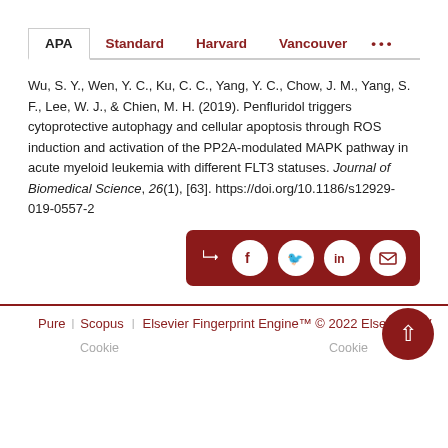APA | Standard | Harvard | Vancouver | ...
Wu, S. Y., Wen, Y. C., Ku, C. C., Yang, Y. C., Chow, J. M., Yang, S. F., Lee, W. J., & Chien, M. H. (2019). Penfluridol triggers cytoprotective autophagy and cellular apoptosis through ROS induction and activation of the PP2A-modulated MAPK pathway in acute myeloid leukemia with different FLT3 statuses. Journal of Biomedical Science, 26(1), [63]. https://doi.org/10.1186/s12929-019-0557-2
[Figure (other): Share buttons bar with Facebook, Twitter, LinkedIn, and email icons on dark red background]
Pure  Scopus  |  Elsevier Fingerprint Engine™ © 2022 Elsevier B.V.
Cookie                                                Cookie